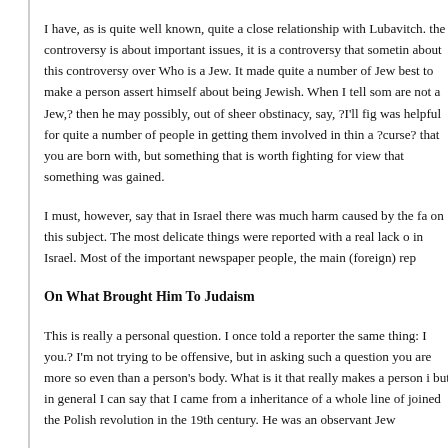I have, as is quite well known, quite a close relationship with Lubavitch. the controversy is about important issues, it is a controversy that sometin about this controversy over Who is a Jew. It made quite a number of Jew best to make a person assert himself about being Jewish. When I tell som are not a Jew,? then he may possibly, out of sheer obstinacy, say, ?I'll fig was helpful for quite a number of people in getting them involved in thin a ?curse? that you are born with, but something that is worth fighting for view that something was gained.
I must, however, say that in Israel there was much harm caused by the fa on this subject. The most delicate things were reported with a real lack o in Israel. Most of the important newspaper people, the main (foreign) rep
On What Brought Him To Judaism
This is really a personal question. I once told a reporter the same thing: I you.? I'm not trying to be offensive, but in asking such a question you are more so even than a person's body. What is it that really makes a person i but in general I can say that I came from a inheritance of a whole line of joined the Polish revolution in the 19th century. He was an observant Jew